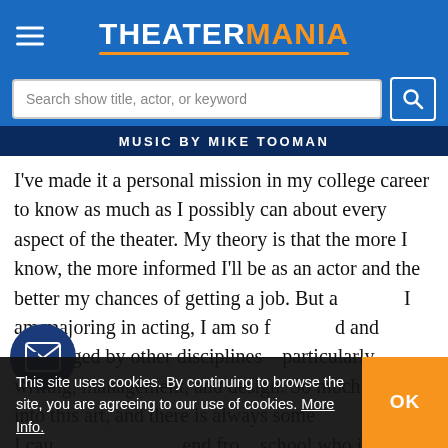THEATERMANIA
Search show title, actor, or keyword
[Figure (screenshot): Show banner with text: MUSIC BY MIKE TOOMAN on dark blue background]
I've made it a personal mission in my college career to know as much as I possibly can about every aspect of the theater. My theory is that the more I know, the more informed I'll be as an actor and the better my chances of getting a job. But a[lthough] I am majoring in acting, I am so f[ascinate]d and challenged by other disciplines—particularly writing, management, and design. So much goes into this art, and there is always some[thing]...
I cau[ght up with a fri]end fro[m] school who is the type of actor I aspire to be; he
This site uses cookies. By continuing to browse the site, you are agreeing to our use of cookies. More Info.